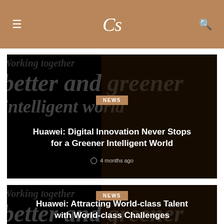CS (logo)
[Figure (photo): Dark background with white text 'Working together better and greener intelligent world' and a person standing, with NEWS badge and article title overlay]
Huawei: Digital Innovation Never Stops for a Greener Intelligent World
4 months ago
[Figure (photo): Dark background with white text 'Working together better and greener intelligent world' and a person standing, with NEWS badge and article title overlay]
Huawei: Attracting World-class Talent with World-class Challenges